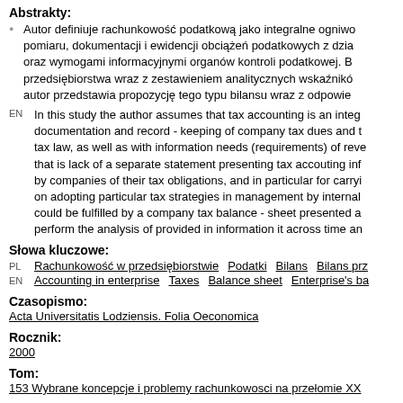Abstrakty:
Autor definiuje rachunkowość podatkową jako integralne ogniwo pomiaru, dokumentacji i ewidencji obciążeń podatkowych z dzia oraz wymogami informacyjnymi organów kontroli podatkowej. B przedsiębiorstwa wraz z zestawieniem analitycznych wskaźnikó autor przedstawia propozycję tego typu bilansu wraz z odpowie
In this study the author assumes that tax accounting is an integ documentation and record - keeping of company tax dues and t tax law, as well as with information needs (requirements) of reve that is lack of a separate statement presenting tax accouting inf by companies of their tax obligations, and in particular for carryi on adopting particular tax strategies in management by internal could be fulfilled by a company tax balance - sheet presented a perform the analysis of provided in information it across time an
Słowa kluczowe:
PL: Rachunkowość w przedsiębiorstwie   Podatki   Bilans   Bilans prz
EN: Accounting in enterprise   Taxes   Balance sheet   Enterprise's ba
Czasopismo:
Acta Universitatis Lodziensis. Folia Oeconomica
Rocznik:
2000
Tom:
153 Wybrane koncepcje i problemy rachunkowosci na przełomie XX